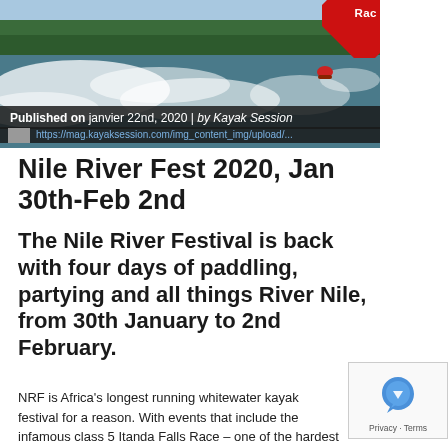[Figure (photo): River whitewater kayaking scene with white water rapids and green trees in the background, with a red 'Race' badge in the top right corner]
Published on janvier 22nd, 2020 | by Kayak Session
Nile River Fest 2020, Jan 30th-Feb 2nd
The Nile River Festival is back with four days of paddling, partying and all things River Nile, from 30th January to 2nd February.
NRF is Africa's longest running whitewater kayak festival for a reason. With events that include the infamous class 5 Itanda Falls Race – one of the hardest high volume race courses in the world – and the classic, super-fun Big Air Ramp, Nile River Festival is always